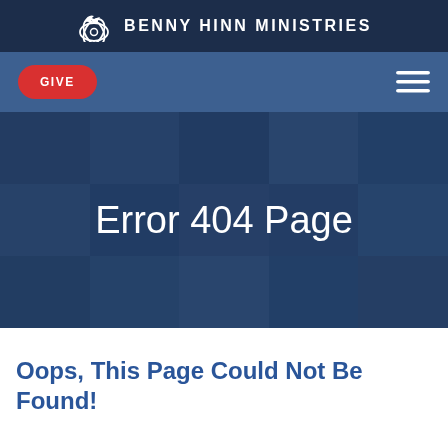BENNY HINN MINISTRIES
GIVE
[Figure (screenshot): Hero banner with blue-tinted mosaic crowd photo background and centered large white text reading 'Error 404 Page']
Oops, This Page Could Not Be Found!